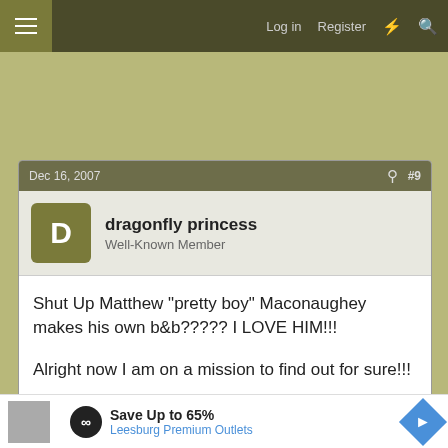Log in  Register
Dec 16, 2007  #9
dragonfly princess
Well-Known Member
Shut Up Matthew "pretty boy" Maconaughey makes his own b&b????? I LOVE HIM!!!

Alright now I am on a mission to find out for sure!!!
Dec 16, 2007  #10
[Figure (screenshot): Advertisement banner: Save Up to 65% Leesburg Premium Outlets]